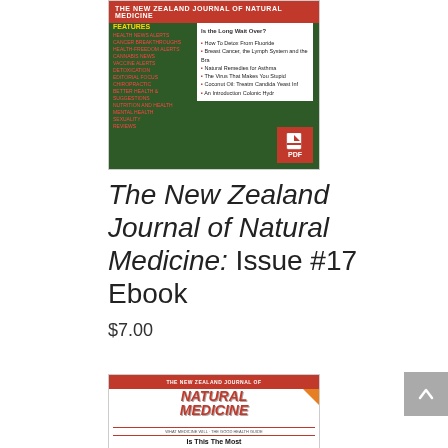[Figure (illustration): Magazine cover for The New Zealand Journal of Natural Medicine Issue #17, showing feature list and PDF badge]
The New Zealand Journal of Natural Medicine: Issue #17 Ebook
$7.00
[Figure (illustration): Magazine cover for The New Zealand Journal of Natural Medicine showing 'Is This The Most Effective Treatment for PMS?' headline]